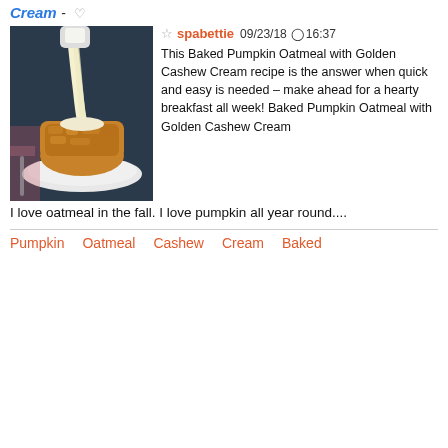Cream -
[Figure (photo): Photo of baked pumpkin oatmeal being drizzled with golden cashew cream on a plate]
spabettie  09/23/18  16:37
This Baked Pumpkin Oatmeal with Golden Cashew Cream recipe is the answer when quick and easy is needed – make ahead for a hearty breakfast all week! Baked Pumpkin Oatmeal with Golden Cashew Cream I love oatmeal in the fall. I love pumpkin all year round....
Pumpkin
Oatmeal
Cashew
Cream
Baked